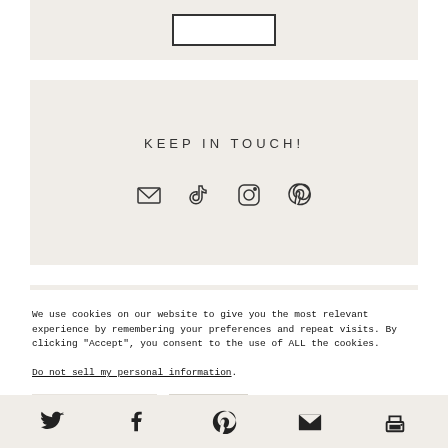[Figure (other): Top section with a white rectangle box on a beige background]
KEEP IN TOUCH!
[Figure (other): Social media icons: email, TikTok, Instagram, Pinterest]
[Figure (other): Partial beige section visible below keep in touch block]
We use cookies on our website to give you the most relevant experience by remembering your preferences and repeat visits. By clicking “Accept”, you consent to the use of ALL the cookies.
Do not sell my personal information.
Cookie Settings   Accept
Twitter, Facebook, Pinterest, Email, Print share icons